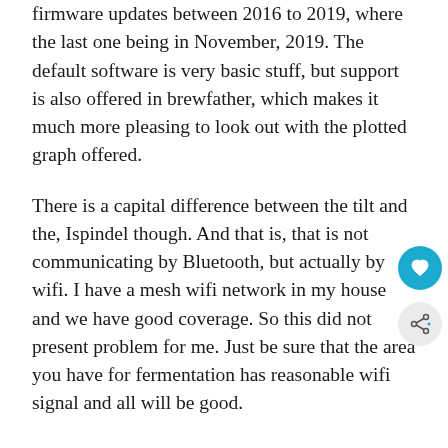firmware updates between 2016 to 2019, where the last one being in November, 2019. The default software is very basic stuff, but support is also offered in brewfather, which makes it much more pleasing to look out with the plotted graph offered.
There is a capital difference between the tilt and the, Ispindel though. And that is, that is not communicating by Bluetooth, but actually by wifi. I have a mesh wifi network in my house and we have good coverage. So this did not present problem for me. Just be sure that the area you have for fermentation has reasonable wifi signal and all will be good.